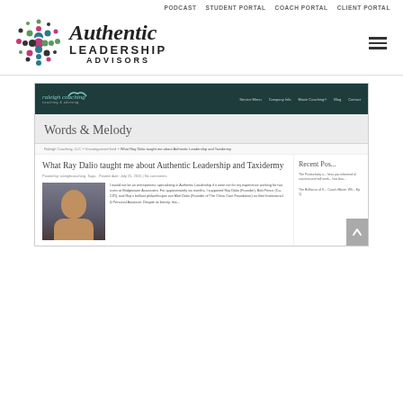PODCAST   STUDENT PORTAL   COACH PORTAL   CLIENT PORTAL
[Figure (logo): Authentic Leadership Advisors logo with colorful dots cluster and script/sans-serif text]
[Figure (screenshot): Screenshot of Raleigh Coaching website showing 'Words & Melody' blog section with article 'What Ray Dalio taught me about Authentic Leadership and Taxidermy', breadcrumb navigation, article text with photo of Ray Dalio, and a Recent Posts sidebar]